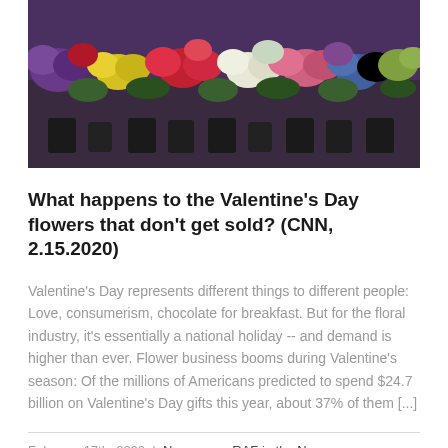[Figure (photo): Photo of colorful flower arrangements including red, pink, yellow, white, and purple flowers in black pots displayed at a market or store.]
What happens to the Valentine’s Day flowers that don’t get sold? (CNN, 2.15.2020)
Valentine’s Day represents different things to different people: Love, consumerism, chocolate for breakfast. But for the floral industry, it’s essentially a national holiday -- and demand is higher than ever. Flower business booms during Valentine’s season: Of the millions of Americans predicted to spend $24.7 billion on Valentine’s Day gifts this year, about 37% of them [...]
February 17th, 2020 | Newsroom, RAF in the News
Read More >